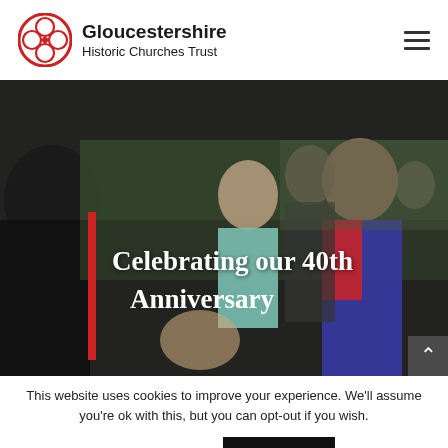Gloucestershire Historic Churches Trust
[Figure (photo): Outdoor event photo showing people socializing, with a woman in a teal jacket smiling, a man in a red and blue polo shirt, and other attendees in background]
Celebrating our 40th Anniversary
This website uses cookies to improve your experience. We'll assume you're ok with this, but you can opt-out if you wish.
Cookie settings   ACCEPT